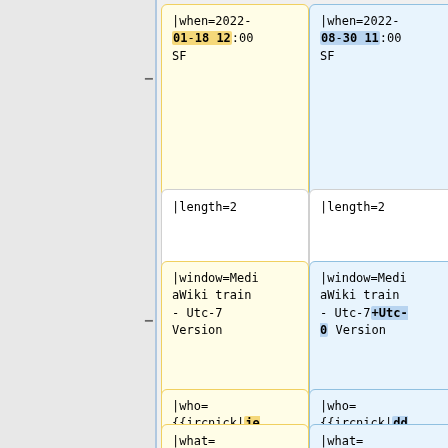[Figure (screenshot): Diff view showing two columns of wiki template code changes. Left column (yellow/removed) and right column (blue/added). Rows show: when date fields, length fields, window fields, who fields, and what fields.]